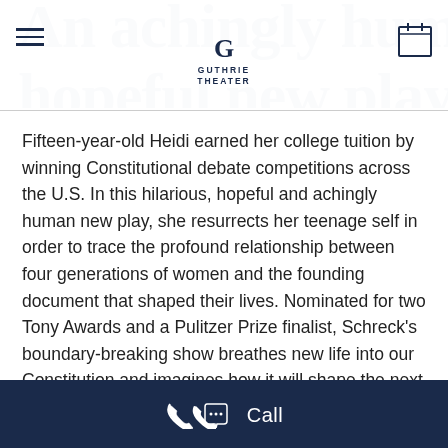[Figure (logo): Guthrie Theater logo with stylized G and text GUTHRIE THEATER]
An achingly human, hopeful new play
Fifteen-year-old Heidi earned her college tuition by winning Constitutional debate competitions across the U.S. In this hilarious, hopeful and achingly human new play, she resurrects her teenage self in order to trace the profound relationship between four generations of women and the founding document that shaped their lives. Nominated for two Tony Awards and a Pulitzer Prize finalist, Schreck's boundary-breaking show breathes new life into our Constitution and imagines how it will shape the next generation of Americans. The Guthrie is proud to be the first stop on the national tour of this timely and galvanizing work.
Call